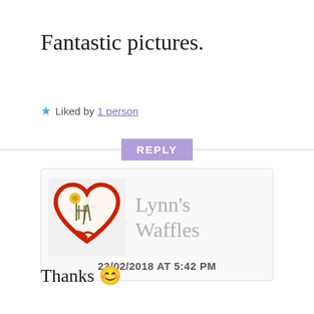Fantastic pictures.
★ Liked by 1 person
REPLY
[Figure (other): Lynn's Waffles profile avatar: a heart-shaped image with floral decoration, red border, and the name 'Lynn's Waffles' beside it, dated 23/02/2018 AT 5:42 PM]
Thanks 😊